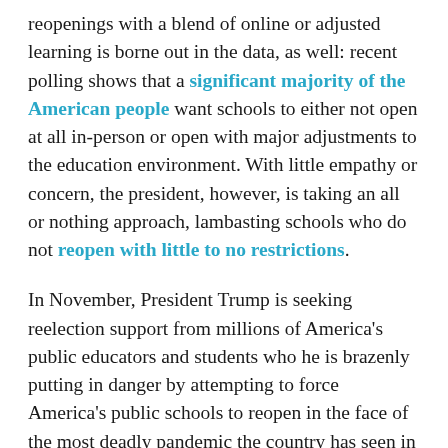reopenings with a blend of online or adjusted learning is borne out in the data, as well: recent polling shows that a significant majority of the American people want schools to either not open at all in-person or open with major adjustments to the education environment. With little empathy or concern, the president, however, is taking an all or nothing approach, lambasting schools who do not reopen with little to no restrictions.
In November, President Trump is seeking reelection support from millions of America's public educators and students who he is brazenly putting in danger by attempting to force America's public schools to reopen in the face of the most deadly pandemic the country has seen in generations.